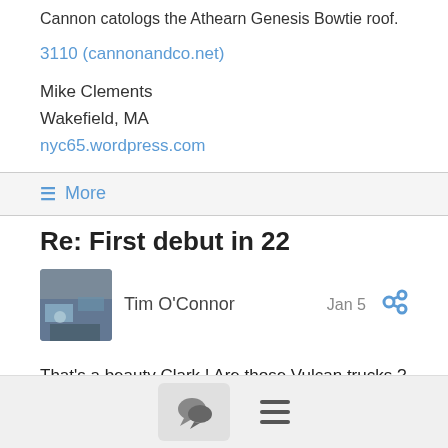Cannon catologs the Athearn Genesis Bowtie roof.
3110 (cannonandco.net)
Mike Clements
Wakefield, MA
nyc65.wordpress.com
≡ More
Re: First debut in 22
Tim O'Connor
Jan 5
That's a beauty Clark ! Are those Vulcan trucks ? Who makes them ?
Show quoted text